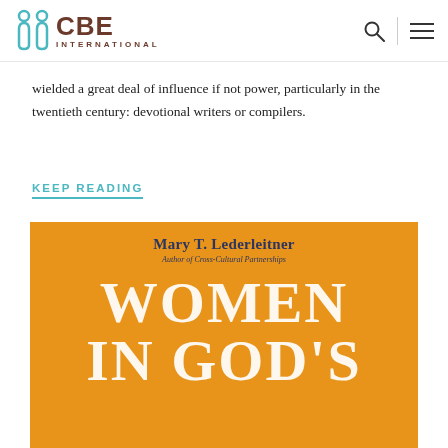[Figure (logo): CBE International logo with teal icon and brown text]
wielded a great deal of influence if not power, particularly in the twentieth century: devotional writers or compilers.
KEEP READING
[Figure (photo): Book cover for 'Women in God's' by Mary T. Lederleitner, Author of Cross-Cultural Partnerships. Orange background with large white serif title text and dark blue author name.]